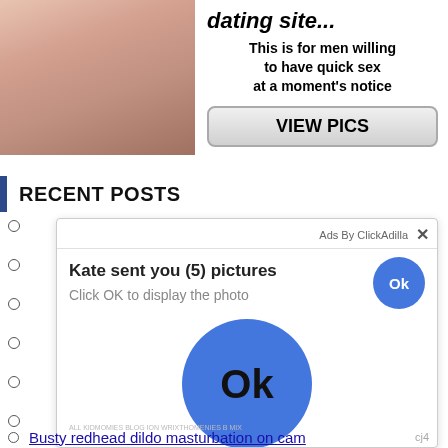[Figure (photo): Partial torso photo of a person in a pink top, cropped, used as advertisement image]
dating site...
This is for men willing to have quick sex at a moment's notice
VIEW PICS
RECENT POSTS
[Figure (screenshot): Ad popup overlay from ClickAdilla showing 'Kate sent you (5) pictures - Click OK to display the photo' with a blue Ok button, and a large blue Ok circle button below]
Busty redhead dildo masturbation on cam